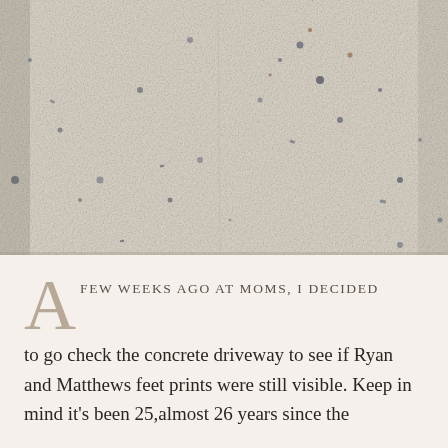[Figure (photo): Close-up photograph of a concrete driveway surface showing a textured, speckled pattern with blue-grey and brown flecks embedded in light beige/cream concrete. The surface appears aged and worn.]
A FEW WEEKS AGO AT Moms, I DECIDED to go check the concrete driveway to see if Ryan and Matthews feet prints were still visible. Keep in mind it's been 25,almost 26 years since the